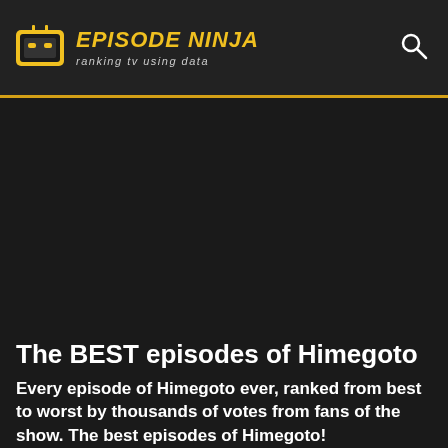EPISODE NINJA — ranking tv using data
The BEST episodes of Himegoto
Every episode of Himegoto ever, ranked from best to worst by thousands of votes from fans of the show. The best episodes of Himegoto!